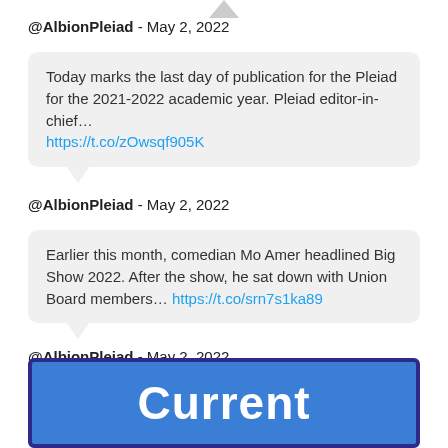@AlbionPleiad - May 2, 2022
Today marks the last day of publication for the Pleiad for the 2021-2022 academic year. Pleiad editor-in-chief… https://t.co/zOwsqf905K
@AlbionPleiad - May 2, 2022
Earlier this month, comedian Mo Amer headlined Big Show 2022. After the show, he sat down with Union Board members… https://t.co/srn7s1ka89
@AlbionPleiad - May 2, 2022
[Figure (screenshot): Blue image with dark blue border showing the word 'Current' in bold white text]